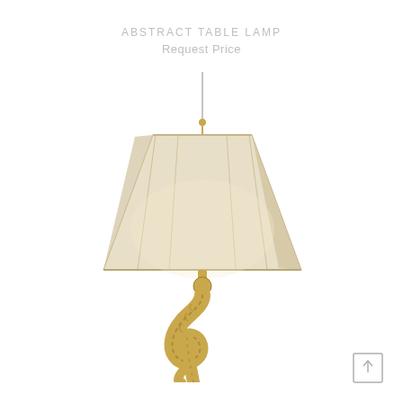ABSTRACT TABLE LAMP
Request Price
[Figure (photo): An elegant table lamp with a cream/off-white trapezoid fabric shade with vertical panel seams and a decorative gold/brass sculptural base with scrollwork and feather-like carved details. A thin silver finial extends from the top of the shade.]
[Figure (other): Share/export icon button — upward arrow inside a square bracket rectangle outline]